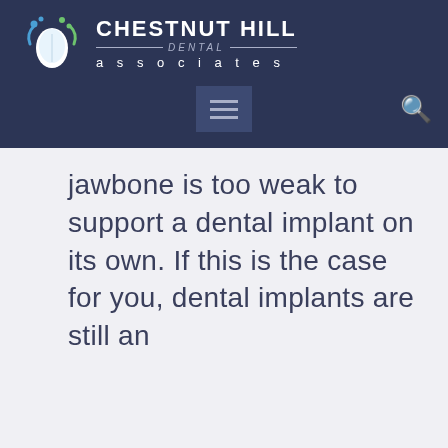[Figure (logo): Chestnut Hill Dental Associates logo with tooth icon and navigation bar on dark navy background]
jawbone is too weak to support a dental implant on its own. If this is the case for you, dental implants are still an